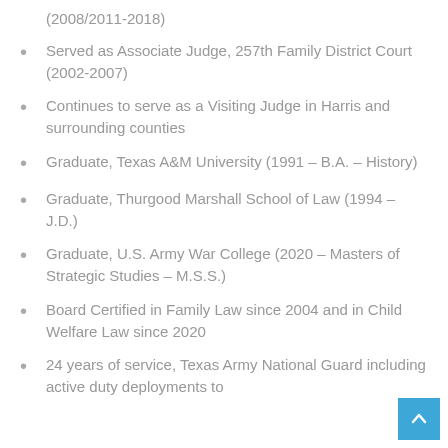(2008/2011-2018)
Served as Associate Judge, 257th Family District Court (2002-2007)
Continues to serve as a Visiting Judge in Harris and surrounding counties
Graduate, Texas A&M University (1991 – B.A. – History)
Graduate, Thurgood Marshall School of Law (1994 – J.D.)
Graduate, U.S. Army War College (2020 – Masters of Strategic Studies – M.S.S.)
Board Certified in Family Law since 2004 and in Child Welfare Law since 2020
24 years of service, Texas Army National Guard including active duty deployments to